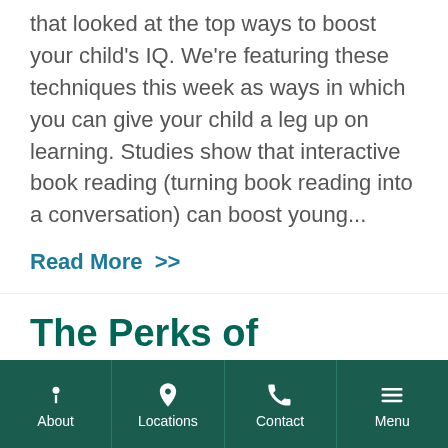that looked at the top ways to boost your child's IQ. We're featuring these techniques this week as ways in which you can give your child a leg up on learning. Studies show that interactive book reading (turning book reading into a conversation) can boost young...
Read More >>
The Perks of Preschool
Looking for more ways of enhancing your child's IQ? All this week we're featuring a...
About | Locations | Contact | Menu